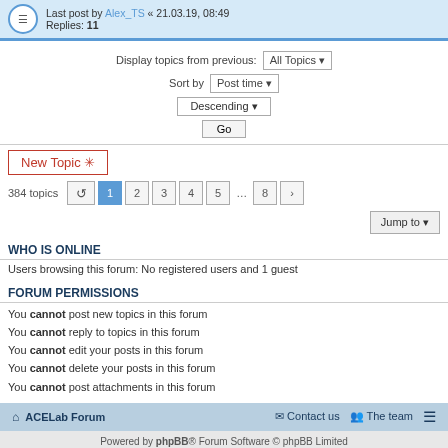Last post by Alex_TS « 21.03.19, 08:49 Replies: 11
Display topics from previous: All Topics ▼
Sort by Post time ▼
Descending ▼
Go
New Topic ✳
384 topics  ↺  1 2 3 4 5 ... 8 ›
Jump to ▼
WHO IS ONLINE
Users browsing this forum: No registered users and 1 guest
FORUM PERMISSIONS
You cannot post new topics in this forum
You cannot reply to topics in this forum
You cannot edit your posts in this forum
You cannot delete your posts in this forum
You cannot post attachments in this forum
ACELab Forum   Contact us   The team   ≡
Powered by phpBB® Forum Software © phpBB Limited